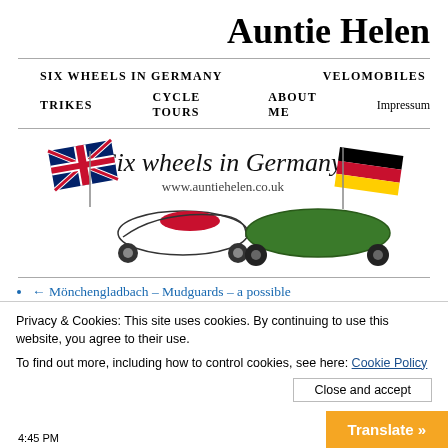Auntie Helen
SIX WHEELS IN GERMANY   VELOMOBILES   TRIKES   CYCLE TOURS   ABOUT ME   Impressum
[Figure (illustration): Banner image for 'Six wheels in Germany' website showing two velomobiles (one white/red, one green) with UK and German flags, text 'Six wheels in Germany' and 'www.auntiehelen.co.uk']
← Mönchengladbach – Mudguards – a possible
Privacy & Cookies: This site uses cookies. By continuing to use this website, you agree to their use.
To find out more, including how to control cookies, see here: Cookie Policy
Close and accept
Translate »
4:45 PM